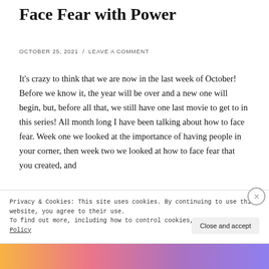Face Fear with Power
OCTOBER 25, 2021  /  LEAVE A COMMENT
It’s crazy to think that we are now in the last week of October! Before we know it, the year will be over and a new one will begin, but, before all that, we still have one last movie to get to in this series! All month long I have been talking about how to face fear. Week one we looked at the importance of having people in your corner, then week two we looked at how to face fear that you created, and
Privacy & Cookies: This site uses cookies. By continuing to use this website, you agree to their use.
To find out more, including how to control cookies, see here: Cookie Policy
Close and accept